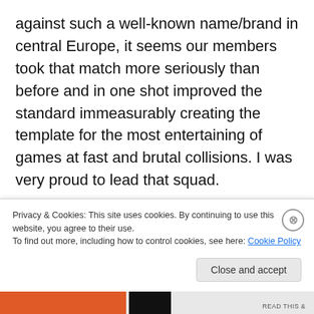against such a well-known name/brand in central Europe, it seems our members took that match more seriously than before and in one shot improved the standard immeasurably creating the template for the most entertaining of games at fast and brutal collisions. I was very proud to lead that squad.

Na záver to najlepšie. RC Donau Wien proti RKB vo veľmi horúcom priateľskom zápase s upravenými pravidlami. Hralo sa 4×20 minút, aby sme mohli v teplotách nad 35 stupňov lepšie dodržiavať pitnú
Privacy & Cookies: This site uses cookies. By continuing to use this website, you agree to their use.
To find out more, including how to control cookies, see here: Cookie Policy